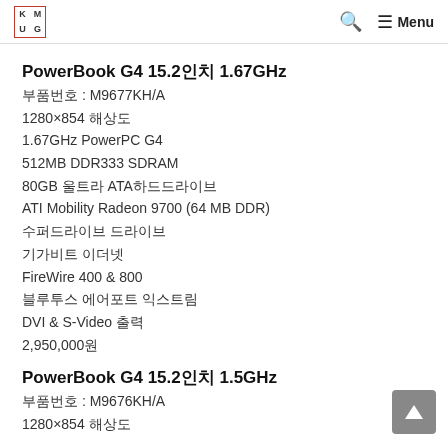KMUG — Menu
PowerBook G4 15.2인치 1.67GHz
부품번호 : M9677KH/A
1280×854 해상도
1.67GHz PowerPC G4
512MB DDR333 SDRAM
80GB 울트라 ATA하드드라이브
ATI Mobility Radeon 9700 (64 MB DDR)
수퍼드라이브 드라이브
기가비트 이더넷
FireWire 400 & 800
블루투스 에어포트 익스트림
DVI & S-Video 출력
2,950,000원
PowerBook G4 15.2인치 1.5GHz
부품번호 : M9676KH/A
1280×854 해상도